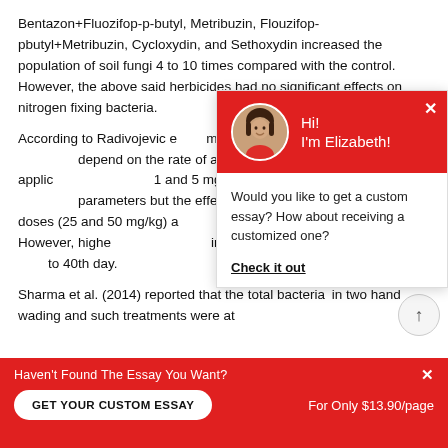Bentazon+Fluozifop-p-butyl, Metribuzin, Flouzifop-pbutyl+Metribuzin, Cycloxydin, and Sethoxydin increased the population of soil fungi 4 to 10 times compared with the control. However, the above said herbicides had no significant effects on nitrogen fixing bacteria. According to Radivojevic e... metsulfuron-methyl on th... depend on the rate of app... They found that the applic... and 5 mg/kg soil did not h... parameters but the effect... doses (25 and 50 mg/kg) a... transitory. However, highe... induced increasing activity... to 40th day.
Sharma et al. (2014) reported that the total bacteria... in two hand wading and such characteristics were at...
[Figure (screenshot): Chat popup overlay with red header showing avatar of Elizabeth and greeting 'Hi! I'm Elizabeth!' and body text 'Would you like to get a custom essay? How about receiving a customized one?' with 'Check it out' link.]
Haven't Found The Essay You Want?
GET YOUR CUSTOM ESSAY   For Only $13.90/page